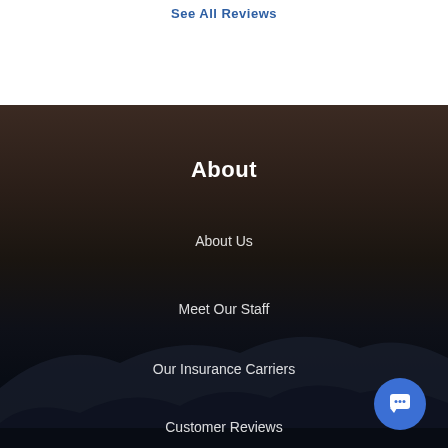See All Reviews
About
About Us
Meet Our Staff
Our Insurance Carriers
Customer Reviews
[Figure (other): Chat button icon (blue circle with message/chat icon)]